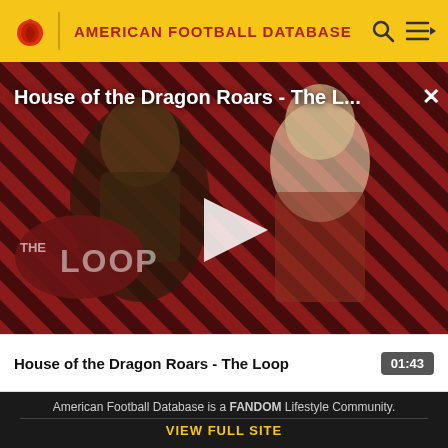AMERICAN FOOTBALL DATABASE
[Figure (screenshot): Video player showing House of the Dragon Roars - The Loop. Background has red and black diagonal stripe pattern with two characters from House of the Dragon. Center shows a white play button triangle. Bottom left shows THE LOOP logo. Top shows video title overlay text.]
House of the Dragon Roars - The Loop   01:43
American Football Database is a FANDOM Lifestyle Community.
VIEW FULL SITE